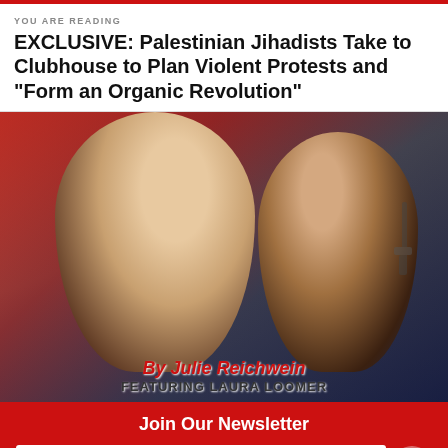YOU ARE READING
EXCLUSIVE: Palestinian Jihadists Take to Clubhouse to Plan Violent Protests and “Form an Organic Revolution”
[Figure (photo): Two women posed back-to-back against an American flag background. Text overlay reads: By Julie Reichwein / Featuring Laura Loomer]
By Julie Reichwein
Featuring Laura Loomer
Join Our Newsletter
Enter your email
Subscribe